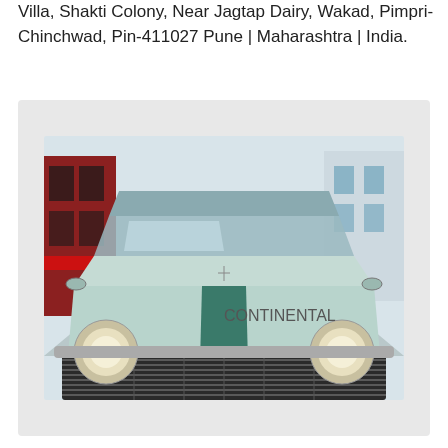Villa, Shakti Colony, Near Jagtap Dairy, Wakad, Pimpri-Chinchwad, Pin-411027 Pune | Maharashtra | India.
[Figure (photo): Front view of a vintage Lincoln Continental car (pale mint/teal color) on a street, showing the grille, headlights, and hood ornament. Urban street scene with buildings in background.]